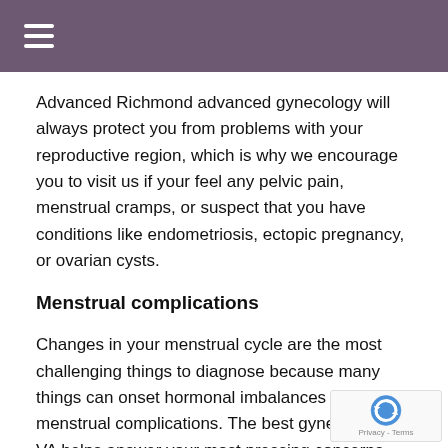Advanced Richmond advanced gynecology will always protect you from problems with your reproductive region, which is why we encourage you to visit us if your feel any pelvic pain, menstrual cramps, or suspect that you have conditions like endometriosis, ectopic pregnancy, or ovarian cysts.
Menstrual complications
Changes in your menstrual cycle are the most challenging things to diagnose because many things can onset hormonal imbalances or menstrual complications. The best gynecologist in VA helps answer your most pressing concerns and resolve complicated or straightforward issues like infertility or